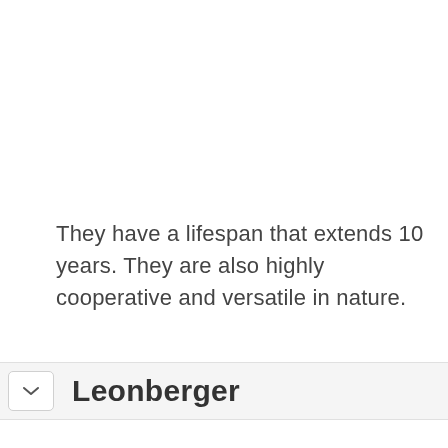They have a lifespan that extends 10 years. They are also highly cooperative and versatile in nature.
Leonberger